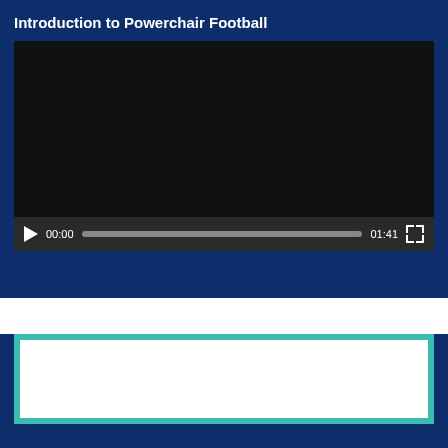Introduction to Powerchair Football
[Figure (screenshot): Embedded video player with a black screen, play button, progress bar showing 00:00 current time and 01:41 total duration, and a fullscreen button.]
[Figure (screenshot): Partially visible second card with a teal/turquoise bordered white rectangle on a dark blue background.]